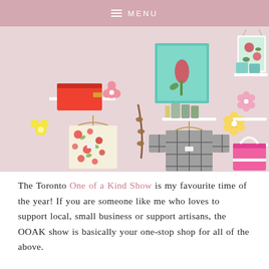≡ MENU
[Figure (photo): A retail shop display against a pink wall showing clothing items hanging on hooks (a floral dress and a grey grid-pattern sweater), accessories including an orange clutch purse, a pink tote bag, a pink handbag, a necklace, a tropical print swimsuit, perfume bottles, decorative flower pins, and a framed botanical print on a teal background, all arranged on white shelves.]
The Toronto One of a Kind Show is my favourite time of the year! If you are someone like me who loves to support local, small business or support artisans, the OOAK show is basically your one-stop shop for all of the above.